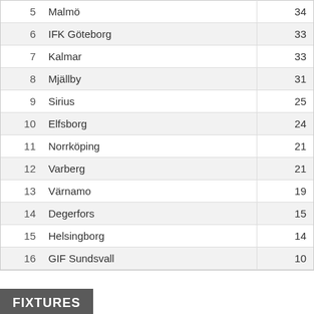| # | Team | Pts |
| --- | --- | --- |
| 5 | Malmö | 34 |
| 6 | IFK Göteborg | 33 |
| 7 | Kalmar | 33 |
| 8 | Mjällby | 31 |
| 9 | Sirius | 25 |
| 10 | Elfsborg | 24 |
| 11 | Norrköping | 21 |
| 12 | Varberg | 21 |
| 13 | Värnamo | 19 |
| 14 | Degerfors | 15 |
| 15 | Helsingborg | 14 |
| 16 | GIF Sundsvall | 10 |
FIXTURES
September 4, 2022
| Home | Time | Away |
| --- | --- | --- |
| Häcken | 15:00 | Degerfors |